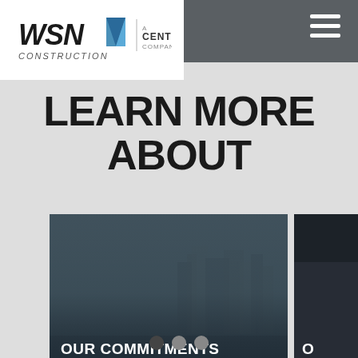[Figure (logo): WSN Construction logo with triangle icon and 'A CENTURI COMPANY' tagline]
LEARN MORE ABOUT
[Figure (photo): Card carousel showing 'OUR COMMITMENTS' card with a cityscape/construction site background image, and a second partially visible dark card]
[Figure (other): Carousel navigation dots — three dots, first one active/dark]